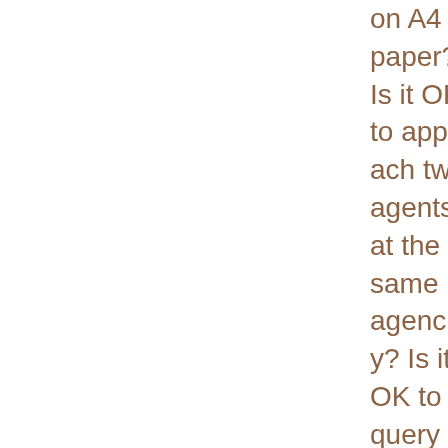on A4 paper? Is it OK to approach two agents at the same agency? Is it OK to query several agents at